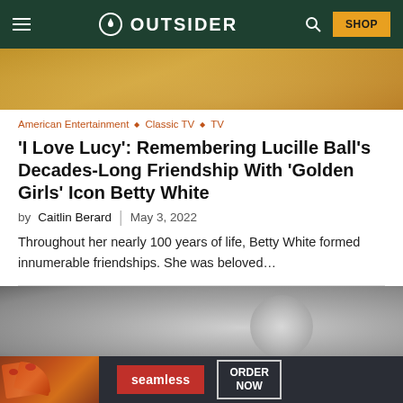OUTSIDER
[Figure (photo): Top partial photo of a woman in a gold/amber setting, wearing a necklace, cropped at shoulders]
American Entertainment ◆ Classic TV ◆ TV
'I Love Lucy': Remembering Lucille Ball's Decades-Long Friendship With 'Golden Girls' Icon Betty White
by Caitlin Berard | May 3, 2022
Throughout her nearly 100 years of life, Betty White formed innumerable friendships. She was beloved...
[Figure (photo): Black and white photo, partially visible, showing a person or figure with curly/fluffy hair or fur]
[Figure (photo): Advertisement banner: Seamless food delivery ad showing pizza slices on the left, Seamless logo in red center button, and ORDER NOW button in white outlined box on dark background]